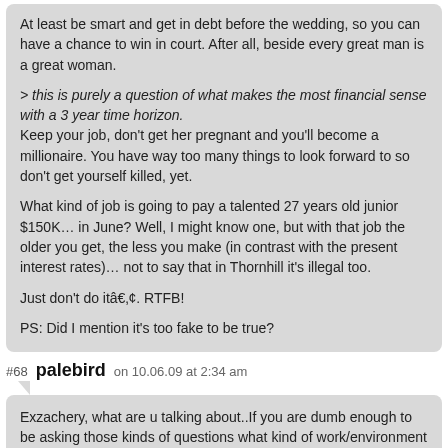At least be smart and get in debt before the wedding, so you can have a chance to win in court. After all, beside every great man is a great woman.

> this is purely a question of what makes the most financial sense with a 3 year time horizon.
Keep your job, don't get her pregnant and you'll become a millionaire. You have way too many things to look forward to so don't get yourself killed, yet.

What kind of job is going to pay a talented 27 years old junior $150K… in June? Well, I might know one, but with that job the older you get, the less you make (in contrast with the present interest rates)… not to say that in Thornhill it's illegal too.

Just don't do itâ‚¢. RTFB!

PS: Did I mention it's too fake to be true?
#68 palebird on 10.06.09 at 2:34 am
Exzachery, what are u talking about..If you are dumb enough to be asking those kinds of questions what kind of work/environment do you live in??